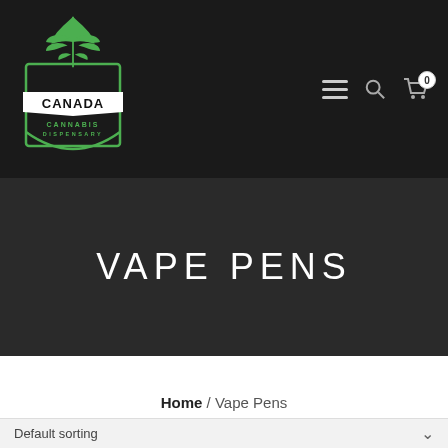[Figure (logo): Canada Cannabis Dispensary logo with green cannabis leaf above a shield shape with banner reading CANADA and text CANNABIS DISPENSARY]
VAPE PENS
Home / Vape Pens
Default sorting